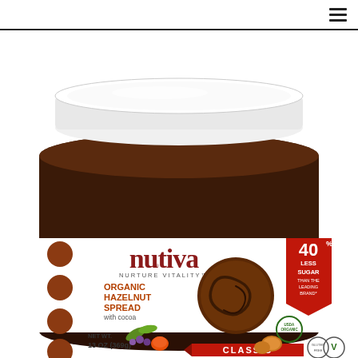[Figure (photo): Product photo of a Nutiva Organic Hazelnut Spread jar with cocoa, white lid, dark brown jar. Label reads: nutiva, NURTURE VITALITY, ORGANIC HAZELNUT SPREAD with cocoa, NET WT. 13 OZ (369g), CLASSIC. Red banner: 40% LESS SUGAR THAN THE LEADING BRAND. USDA Organic, Gluten Free, Vegan certifications shown. Decorative fruits, nuts and leaves on label.]